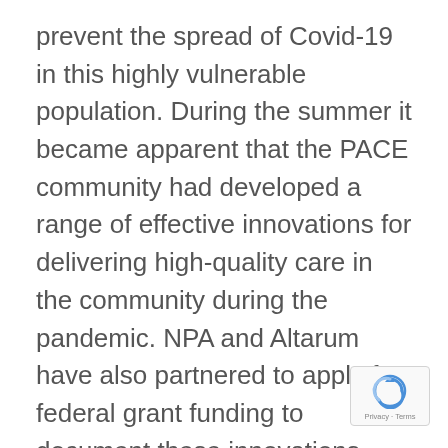prevent the spread of Covid-19 in this highly vulnerable population. During the summer it became apparent that the PACE community had developed a range of effective innovations for delivering high-quality care in the community during the pandemic. NPA and Altarum have also partnered to apply for federal grant funding to document these innovations.
“The story of PACE adaptations during the pandemic shows many organizations are capable of making rapid changes to their service delivery to keep participants as safe possible—and the very low reported death